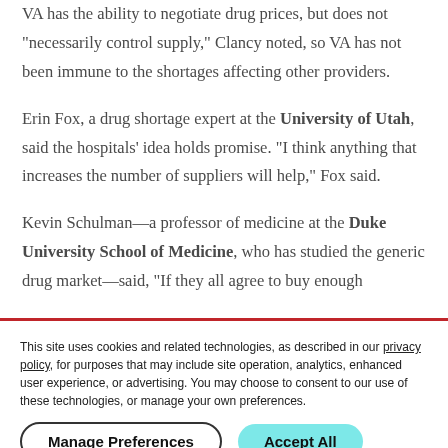VA has the ability to negotiate drug prices, but does not "necessarily control supply," Clancy noted, so VA has not been immune to the shortages affecting other providers.
Erin Fox, a drug shortage expert at the University of Utah, said the hospitals' idea holds promise. "I think anything that increases the number of suppliers will help," Fox said.
Kevin Schulman—a professor of medicine at the Duke University School of Medicine, who has studied the generic drug market—said, "If they all agree to buy enough
This site uses cookies and related technologies, as described in our privacy policy, for purposes that may include site operation, analytics, enhanced user experience, or advertising. You may choose to consent to our use of these technologies, or manage your own preferences.